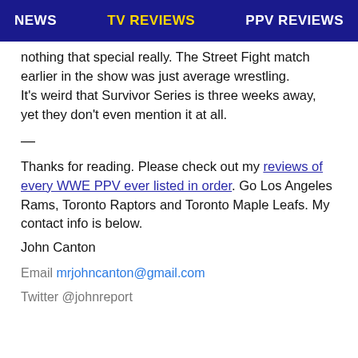NEWS  TV REVIEWS  PPV REVIEWS
nothing that special really. The Street Fight match earlier in the show was just average wrestling.
It's weird that Survivor Series is three weeks away, yet they don't even mention it at all.
—
Thanks for reading. Please check out my reviews of every WWE PPV ever listed in order. Go Los Angeles Rams, Toronto Raptors and Toronto Maple Leafs. My contact info is below.
John Canton
Email mrjohncanton@gmail.com
Twitter @johnreport